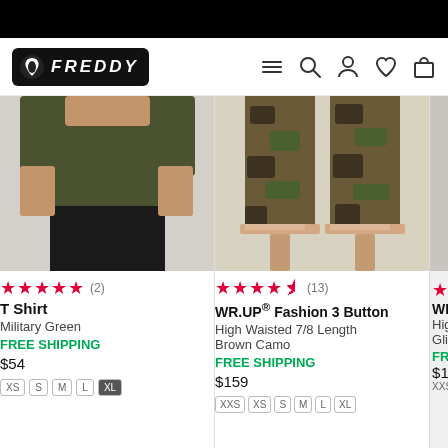[Figure (screenshot): Black navigation bar at top of page]
[Figure (logo): Freddy brand logo - black rounded rectangle with leaf icon and FREDDY text]
[Figure (screenshot): Navigation icons: hamburger menu, search, user/account, heart/wishlist, shopping bag]
[Figure (photo): Product photo of woman wearing military green t-shirt with dark pants, cropped at waist]
[Figure (photo): Product photo showing legs wearing brown camouflage WR.UP pants with beige heeled sandals]
★★★★★ (2)
T Shirt
Military Green
FREE SHIPPING
$54
XS  S  M  L  XL
★★★★½ (13)
WR.UP® Fashion 3 Button
High Waisted 7/8 Length
Brown Camo
FREE SHIPPING
$159
XXS  XS  S  M  L  XL
WR.
Hig
Gli
FRE
$177
XXS